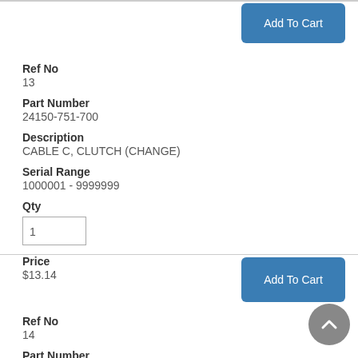[Figure (other): Add To Cart button at top right]
Ref No
13
Part Number
24150-751-700
Description
CABLE C, CLUTCH (CHANGE)
Serial Range
1000001 - 9999999
Qty
1
Price
$13.14
[Figure (other): Add To Cart button at bottom right]
Ref No
14
Part Number
24160-751-700